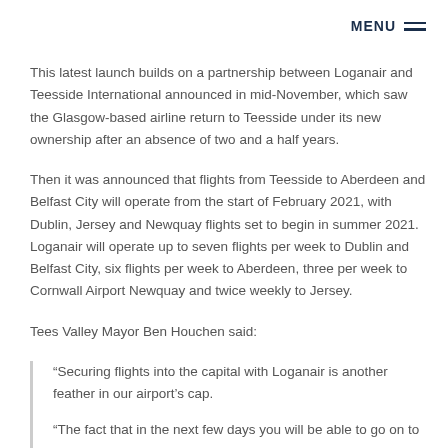MENU ☰
This latest launch builds on a partnership between Loganair and Teesside International announced in mid-November, which saw the Glasgow-based airline return to Teesside under its new ownership after an absence of two and a half years.
Then it was announced that flights from Teesside to Aberdeen and Belfast City will operate from the start of February 2021, with Dublin, Jersey and Newquay flights set to begin in summer 2021. Loganair will operate up to seven flights per week to Dublin and Belfast City, six flights per week to Aberdeen, three per week to Cornwall Airport Newquay and twice weekly to Jersey.
Tees Valley Mayor Ben Houchen said:
“Securing flights into the capital with Loganair is another feather in our airport’s cap.
“The fact that in the next few days you will be able to go on to the websites of the likes of British Airways, Qatar and